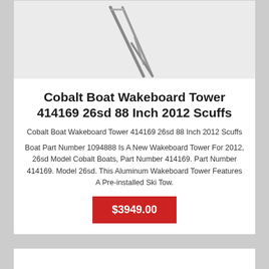[Figure (illustration): Partial image of a wakeboard tower product — two angled aluminum struts visible against a light gray background, cropped at top.]
Cobalt Boat Wakeboard Tower 414169 26sd 88 Inch 2012 Scuffs
Cobalt Boat Wakeboard Tower 414169 26sd 88 Inch 2012 Scuffs
Boat Part Number 1094888 Is A New Wakeboard Tower For 2012, 26sd Model Cobalt Boats, Part Number 414169. Part Number 414169. Model 26sd. This Aluminum Wakeboard Tower Features A Pre-installed Ski Tow.
$3949.00